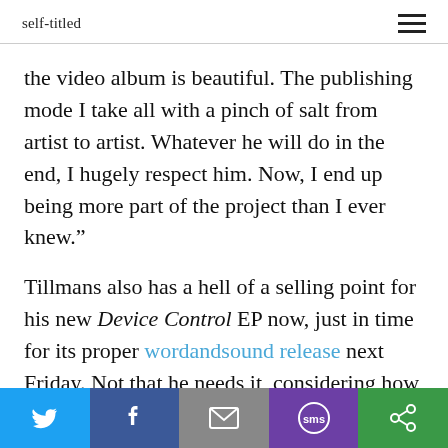self-titled
the video album is beautiful. The publishing mode I take all with a pinch of salt from artist to artist. Whatever he will do in the end, I hugely respect him. Now, I end up being more part of the project than I ever knew.”
Tillmans also has a hell of a selling point for his new Device Control EP now, just in time for its proper wordandsound release next Friday. Not that he needs it, considering how